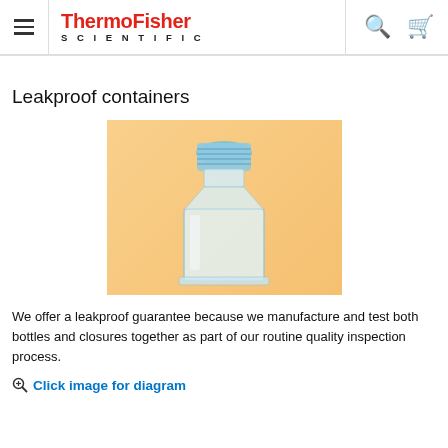ThermoFisher SCIENTIFIC
Leakproof containers
[Figure (photo): A clear plastic square bottle with a blue screw cap, displayed on a light orange/tan background. The bottle is transparent with square/rectangular body tapering to a narrower neck with blue ribbed closure.]
We offer a leakproof guarantee because we manufacture and test both bottles and closures together as part of our routine quality inspection process.
Click image for diagram